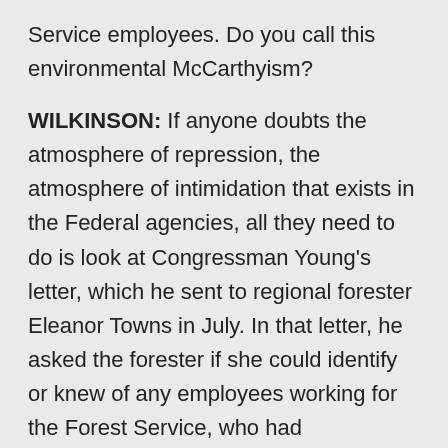Service employees. Do you call this environmental McCarthyism?
WILKINSON: If anyone doubts the atmosphere of repression, the atmosphere of intimidation that exists in the Federal agencies, all they need to do is look at Congressman Young's letter, which he sent to regional forester Eleanor Towns in July. In that letter, he asked the forester if she could identify or knew of any employees working for the Forest Service, who had memberships in environmental organizations, the assertion being that anyone on their own time, at their own expense, paying membership dues to environmental organizations, were somehow subversive. And in the book, there is an example in which Jeff Van Ee, an employee with the Environmental Protection Agency, was threatened with